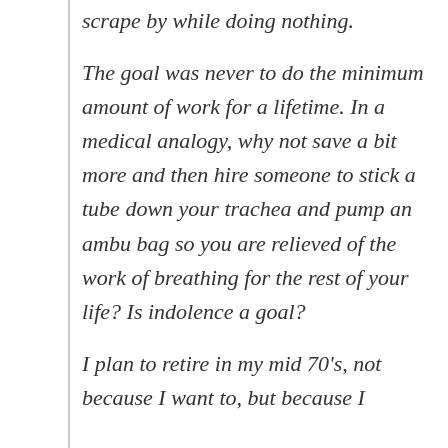scrape by while doing nothing.
The goal was never to do the minimum amount of work for a lifetime. In a medical analogy, why not save a bit more and then hire someone to stick a tube down your trachea and pump an ambu bag so you are relieved of the work of breathing for the rest of your life? Is indolence a goal?
I plan to retire in my mid 70's, not because I want to, but because I